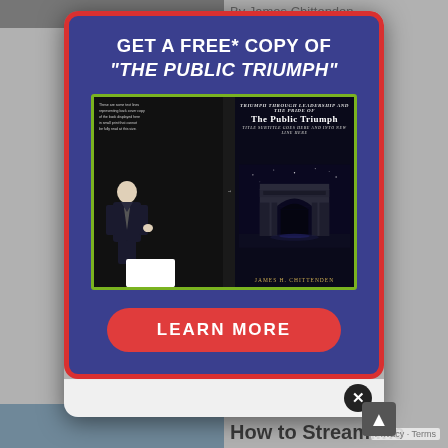By James Chittenden
Whether a shutdown, civil unrest, terrorism, or a ... here are ... ty plan. unning ncies. u live in area, example, spent st
[Figure (illustration): Advertisement modal popup for 'The Public Triumph' book by James H. Chittenden. Blue background with red border. Shows book cover with a man in suit and Arc de Triomphe. Has 'GET A FREE* COPY OF "THE PUBLIC TRIUMPH"' headline and a red 'LEARN MORE' button.]
How to Streamline
Privacy · Terms